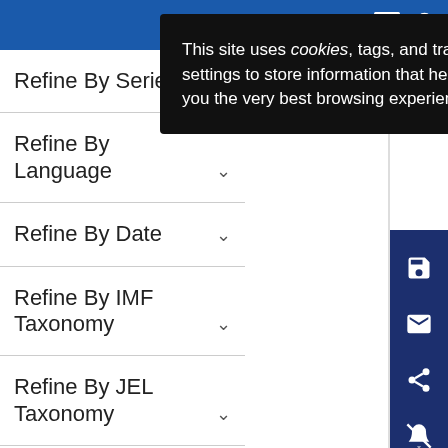[Figure (screenshot): Blue navigation top bar with hamburger menu and search icons]
This site uses cookies, tags, and tracking settings to store information that help give you the very best browsing experience.
Refine By Series
Refine By Language
Refine By Date
Refine By IMF Taxonomy
Refine By JEL Taxonomy